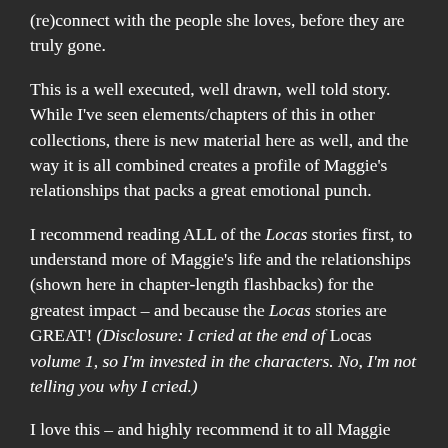(re)connect with the people she loves, before they are truly gone.
This is a well executed, well drawn, well told story. While I've seen elements/chapters of this in other collections, there is new material here as well, and the way it is all combined creates a profile of Maggie's relationships that packs a great emotional punch.
I recommend reading ALL of the Locas stories first, to understand more of Maggie's life and the relationships (shown here in chapter-length flashbacks) for the greatest impact – and because the Locas stories are GREAT! (Disclosure: I cried at the end of Locas volume 1, so I'm invested in the characters. No, I'm not telling you why I cried.)
I love this – and highly recommend it to all Maggie (and